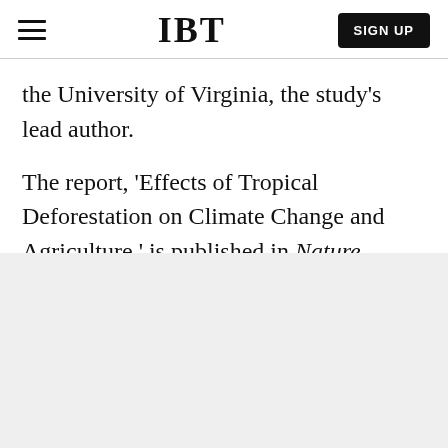IBT
the University of Virginia, the study's lead author.
The report, 'Effects of Tropical Deforestation on Climate Change and Agriculture,' is published in Nature Climate Change.